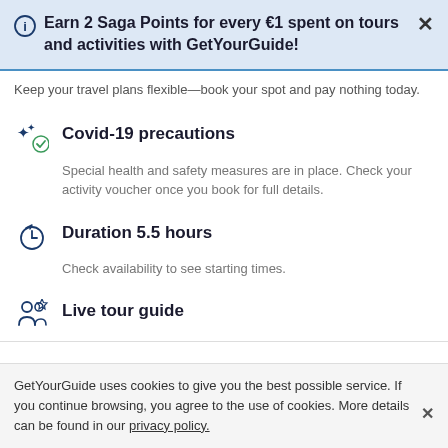Earn 2 Saga Points for every €1 spent on tours and activities with GetYourGuide!
Keep your travel plans flexible—book your spot and pay nothing today.
Covid-19 precautions
Special health and safety measures are in place. Check your activity voucher once you book for full details.
Duration 5.5 hours
Check availability to see starting times.
Live tour guide
GetYourGuide uses cookies to give you the best possible service. If you continue browsing, you agree to the use of cookies. More details can be found in our privacy policy.